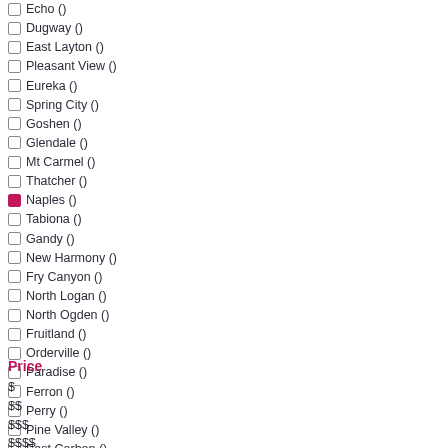Echo ()
Dugway ()
East Layton ()
Pleasant View ()
Eureka ()
Spring City ()
Goshen ()
Glendale ()
Mt Carmel ()
Thatcher ()
Naples ()
Tabiona ()
Gandy ()
New Harmony ()
Fry Canyon ()
North Logan ()
North Ogden ()
Fruitland ()
Orderville ()
Paradise ()
Ferron ()
Perry ()
Pine Valley ()
East Carbon ()
Price
$
$$
$$$
$$$$